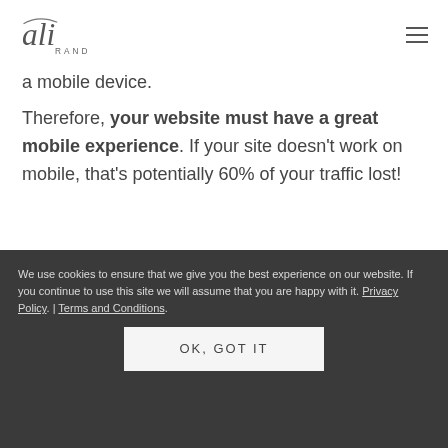[Figure (logo): Ali Rand logo in cursive script with 'RAND' in small caps below]
a mobile device.
Therefore, your website must have a great mobile experience. If your site doesn't work on mobile, that's potentially 60% of your traffic lost!
[Figure (illustration): Top portion of a rose-gold iPhone showing the top edge with camera dot and speaker grille]
We use cookies to ensure that we give you the best experience on our website. If you continue to use this site we will assume that you are happy with it. Privacy Policy. | Terms and Conditions.
OK, GOT IT